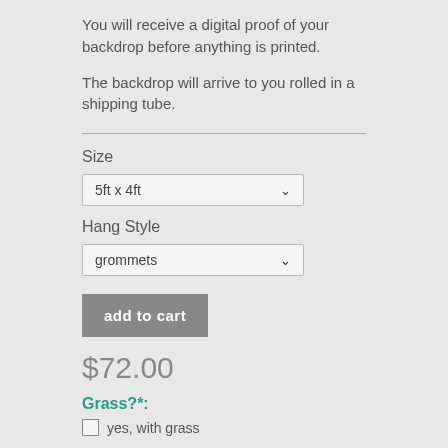You will receive a digital proof of your backdrop before anything is printed.
The backdrop will arrive to you rolled in a shipping tube.
Size
5ft x 4ft
Hang Style
grommets
add to cart
$72.00
Grass?*:
yes, with grass